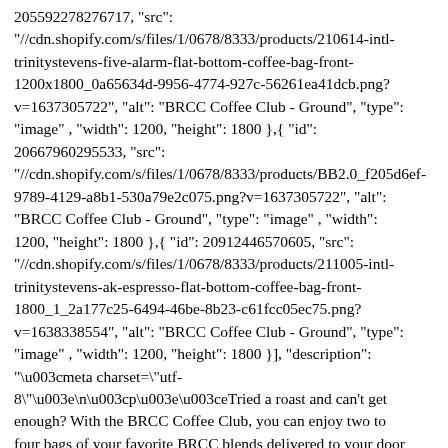205592278276717, "src": "//cdn.shopify.com/s/files/1/0678/8333/products/210614-intl-trinitystevens-five-alarm-flat-bottom-coffee-bag-front-1200x1800_0a65634d-9956-4774-927c-56261ea41dcb.png?v=1637305722", "alt": "BRCC Coffee Club - Ground", "type": "image" , "width": 1200, "height": 1800 },{ "id": 20667960295533, "src": "//cdn.shopify.com/s/files/1/0678/8333/products/BB2.0_f205d6ef-9789-4129-a8b1-530a79e2c075.png?v=1637305722", "alt": "BRCC Coffee Club - Ground", "type": "image" , "width": 1200, "height": 1800 },{ "id": 20912446570605, "src": "//cdn.shopify.com/s/files/1/0678/8333/products/211005-intl-trinitystevens-ak-espresso-flat-bottom-coffee-bag-front-1800_1_2a177c25-6494-46be-8b23-c61fcc05ec75.png?v=1638338554", "alt": "BRCC Coffee Club - Ground", "type": "image" , "width": 1200, "height": 1800 }], "description": "\u003cmeta charset=\"utf-8\"\u003e\n\u003cp\u003e\u003e Tried a roast and can't get enough? With the BRCC Coffee Club, you can enjoy two to four bags of your favorite BRCC blends delivered to your door every single month!\u003c\/p\u003e\n\u003cp\u003e\u003cspan\u003e There are no BS cancellation fees or early termination clauses. When you need us to stop the auto-billing, just email or call us, and we will turn it off. It's that easy. And, it's the way coffee should be.\u003c\/span\u003e\u003c\/p\u003e\n\u003cp\u003e*Two